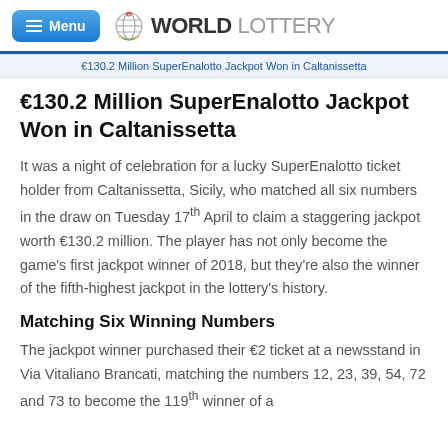WORLD LOTTERY
€130.2 Million SuperEnalotto Jackpot Won in Caltanissetta
€130.2 Million SuperEnalotto Jackpot Won in Caltanissetta
It was a night of celebration for a lucky SuperEnalotto ticket holder from Caltanissetta, Sicily, who matched all six numbers in the draw on Tuesday 17th April to claim a staggering jackpot worth €130.2 million. The player has not only become the game's first jackpot winner of 2018, but they're also the winner of the fifth-highest jackpot in the lottery's history.
Matching Six Winning Numbers
The jackpot winner purchased their €2 ticket at a newsstand in Via Vitaliano Brancati, matching the numbers 12, 23, 39, 54, 72 and 73 to become the 119th winner of a